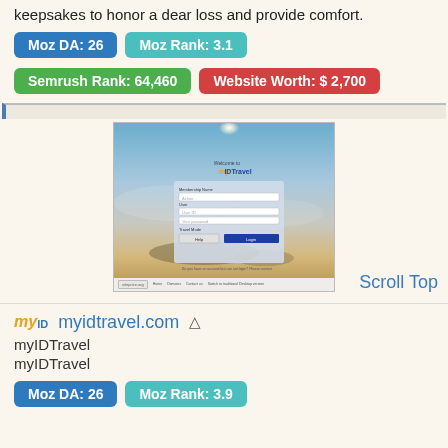keepsakes to honor a dear loss and provide comfort.
Moz DA: 26   Moz Rank: 3.1
Semrush Rank: 64,460   Website Worth: $ 2,700
[Figure (screenshot): Screenshot of myIDTravel login page with a scenic sky background, login form with fields, Help and Login buttons, and site footer links including siteprice.org watermark.]
Scroll Top
myidtravel.com
myIDTravel
myIDTravel
Moz DA: 26   Moz Rank: 3.9